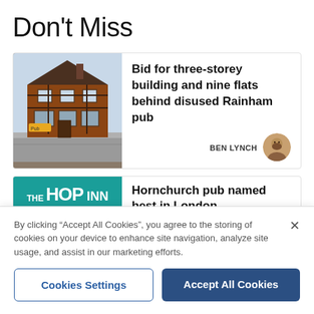Don't Miss
[Figure (photo): Exterior photo of a brick pub building with Tudor-style architecture, storefront, street in foreground]
Bid for three-storey building and nine flats behind disused Rainham pub
BEN LYNCH
[Figure (logo): The Hop Inn Micro Pub logo on teal/green background]
Hornchurch pub named best in London
By clicking “Accept All Cookies”, you agree to the storing of cookies on your device to enhance site navigation, analyze site usage, and assist in our marketing efforts.
Cookies Settings
Accept All Cookies